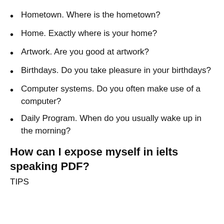Hometown. Where is the hometown?
Home. Exactly where is your home?
Artwork. Are you good at artwork?
Birthdays. Do you take pleasure in your birthdays?
Computer systems. Do you often make use of a computer?
Daily Program. When do you usually wake up in the morning?
How can I expose myself in ielts speaking PDF?
TIPS